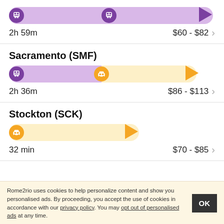[Figure (infographic): Route bar showing train journey with two train stops and destination triangle, purple bar spanning full width]
2h 59m   $60 - $82 →
Sacramento (SMF)
[Figure (infographic): Route bar showing mixed train and taxi journey: purple bar for train segment then yellow bar for taxi segment ending in yellow triangle]
2h 36m   $86 - $113 →
Stockton (SCK)
[Figure (infographic): Route bar showing taxi-only journey: yellow bar with taxi icon and yellow destination triangle]
32 min   $70 - $85 →
Rome2rio uses cookies to help personalize content and show you personalised ads. By proceeding, you accept the use of cookies in accordance with our privacy policy. You may opt out of personalised ads at any time.